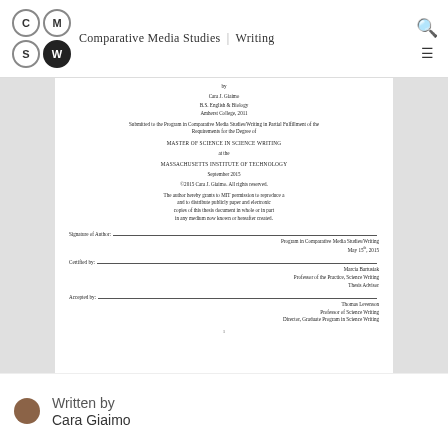Comparative Media Studies | Writing
[Figure (logo): CMS/W logo with four circles: C, M, S, W (W in dark circle)]
by
Cara J. Giaimo
B.S. English & Biology
Amherst College, 2011
Submitted to the Program in Comparative Media Studies/Writing in Partial Fulfillment of the Requirements for the Degree of
MASTER OF SCIENCE IN SCIENCE WRITING
at the
MASSACHUSETTS INSTITUTE OF TECHNOLOGY
September 2015
©2015 Cara J. Giaimo. All rights reserved.
The author hereby grants to MIT permission to reproduce and to distribute publicly paper and electronic copies of this thesis document in whole or in part in any medium now known or hereafter created.
Signature of Author: ____________ Program in Comparative Media Studies/Writing
May 15, 2015
Certified by: ____________ Marcia Bartusiak
Professor of the Practice, Science Writing
Thesis Advisor
Accepted by: ____________ Thomas Levenson
Professor of Science Writing
Director, Graduate Program in Science Writing
Written by
Cara Giaimo